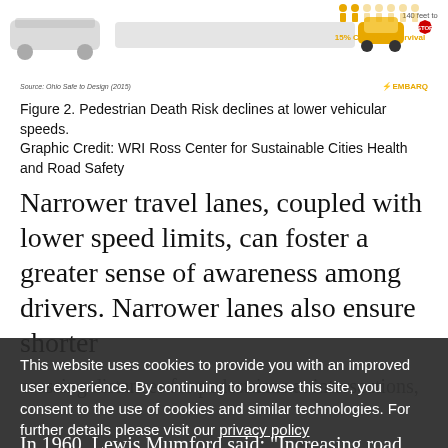[Figure (infographic): Infographic showing pedestrian death risk at different vehicular speeds. Vehicles shown at various speeds with 140 feet to STOP sign, and 15% Chance of Survival shown with person icons.]
Source: Ohio Safe to Design (2015)    EMBARQ
Figure 2. Pedestrian Death Risk declines at lower vehicular speeds. Graphic Credit: WRI Ross Center for Sustainable Cities Health and Road Safety
Narrower travel lanes, coupled with lower speed limits, can foster a greater sense of awareness among drivers. Narrower lanes also ensure shorter crossing distances for pedestrians at intersections,
Do Wider Lanes Help to Reduce Congestion?
This website uses cookies to provide you with an improved user experience. By continuing to browse this site, you consent to the use of cookies and similar technologies. For further details please visit our privacy policy
In 1960, Lewis Mumford said: "Increasing road width to reduce congestion is the same